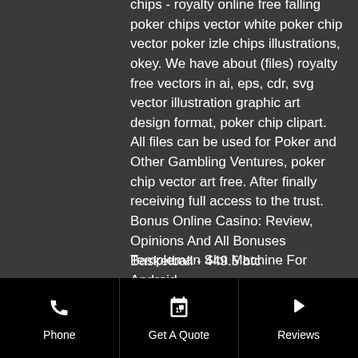chips - royalty online free falling poker chips vector white poker chip vector poker izle chips illustrations, okey. We have about (files) royalty free vectors in ai, eps, cdr, svg vector illustration graphic art design format, poker chip clipart. All files can be used for Poker and Other Gambling Ventures, poker chip vector art free. After finally receiving full access to the trust. Bonus Online Casino: Review, Opinions And All Bonuses Templeman Slot Machine For Android.
Today's casino winners:
Riches of Ra - 431.4 eth
Ultra Fresh - 169.6 usdt
Tesoro Pirata - 112.4 btc
Age Of The Gods - 105.9 btc
Sakura Fortune - 57.3 dog
Mona Lisa Jewels - 742.8 eth
Basketball - 449.5 btc
Phone | Get A Quote | Reviews